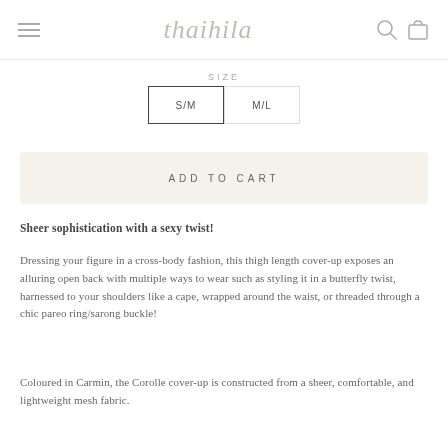thaihila [hamburger menu, search icon, cart icon]
SIZE
S/M   M/L
ADD TO CART
Sheer sophistication with a sexy twist!
Dressing your figure in a cross-body fashion, this thigh length cover-up exposes an alluring open back with multiple ways to wear such as styling it in a butterfly twist, harnessed to your shoulders like a cape, wrapped around the waist, or threaded through a chic pareo ring/sarong buckle!
Coloured in Carmin, the Corolle cover-up is constructed from a sheer, comfortable, and lightweight mesh fabric.